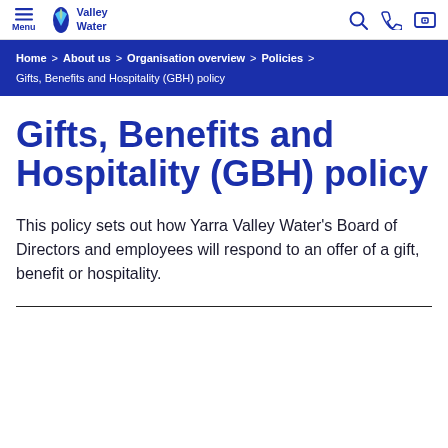Menu | Yarra Valley Water | [search icon] [phone icon] [login icon]
Home > About us > Organisation overview > Policies > Gifts, Benefits and Hospitality (GBH) policy
Gifts, Benefits and Hospitality (GBH) policy
This policy sets out how Yarra Valley Water's Board of Directors and employees will respond to an offer of a gift, benefit or hospitality.